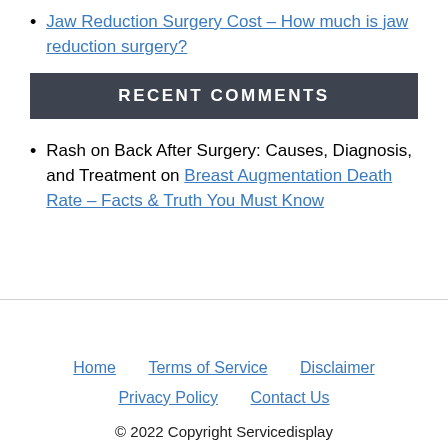Jaw Reduction Surgery Cost – How much is jaw reduction surgery?
RECENT COMMENTS
Rash on Back After Surgery: Causes, Diagnosis, and Treatment on Breast Augmentation Death Rate – Facts & Truth You Must Know
Home   Terms of Service   Disclaimer   Privacy Policy   Contact Us   © 2022 Copyright Servicedisplay